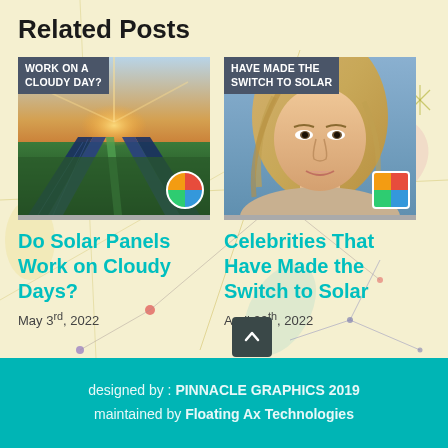Related Posts
[Figure (photo): Solar panels under dramatic sky with sun rays, text overlay: WORK ON A CLOUDY DAY?]
Do Solar Panels Work on Cloudy Days?
May 3rd, 2022
[Figure (photo): Woman with blonde hair smiling, text overlay: HAVE MADE THE SWITCH TO SOLAR]
Celebrities That Have Made the Switch to Solar
April 29th, 2022
designed by : PINNACLE GRAPHICS 2019
maintained by Floating Ax Technologies